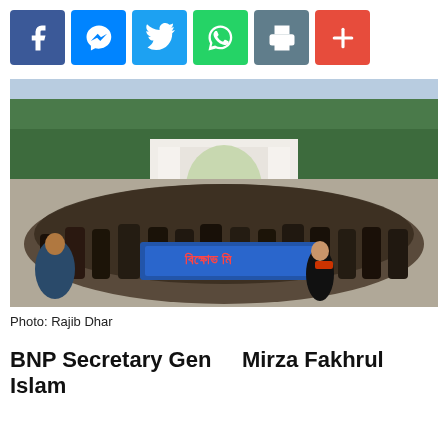[Figure (other): Social media sharing buttons: Facebook, Messenger, Twitter, WhatsApp, Print, More]
[Figure (photo): A large crowd of protesters marching in front of a white arch gate, holding a banner with Bengali text. A woman in a black outfit is prominent in the foreground. Photo by Rajib Dhar.]
Photo: Rajib Dhar
BNP Secretary Gen Mirza Fakhrul Islam